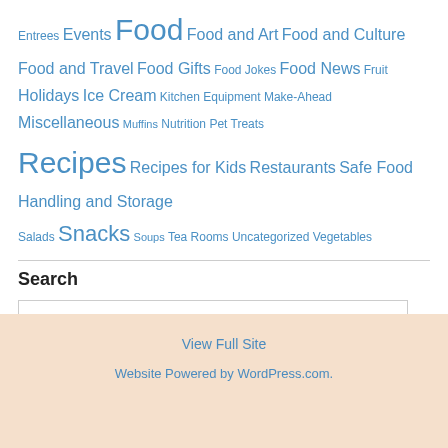Entrees Events Food Food and Art Food and Culture Food and Travel Food Gifts Food Jokes Food News Fruit Holidays Ice Cream Kitchen Equipment Make-Ahead Miscellaneous Muffins Nutrition Pet Treats Recipes Recipes for Kids Restaurants Safe Food Handling and Storage Salads Snacks Soups Tea Rooms Uncategorized Vegetables
Search
Search
View Full Site
Website Powered by WordPress.com.